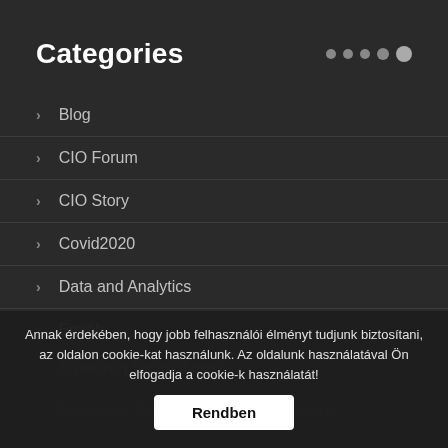Categories
Blog
CIO Forum
CIO Story
Covid2020
Data and Analytics
Egyéb
Emerging Technologies
Enterprise Architecture and Technology
Annak érdekében, hogy jobb felhasználói élményt tudjunk biztosítani, az oldalon cookie-kat használunk. Az oldalunk használatával Ön elfogadja a cookie-k használatát!
Rendben